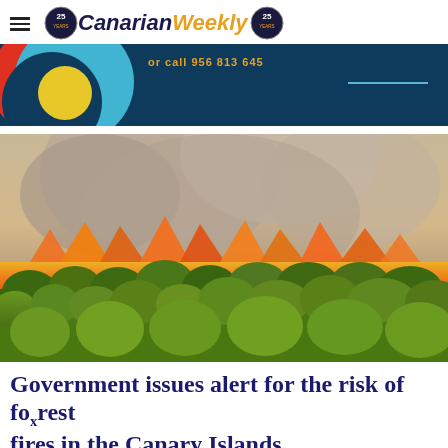Canarian Weekly
[Figure (infographic): Colorful banner with overlapping circles (red, cyan, dark navy, yellow) on dark navy background with phone number and horizontal line]
[Figure (photo): Aerial photograph of a forest fire burning through pine trees with large plumes of orange flames and smoke on a hillside]
Government issues alert for the risk of forest fires in the Canary Islands